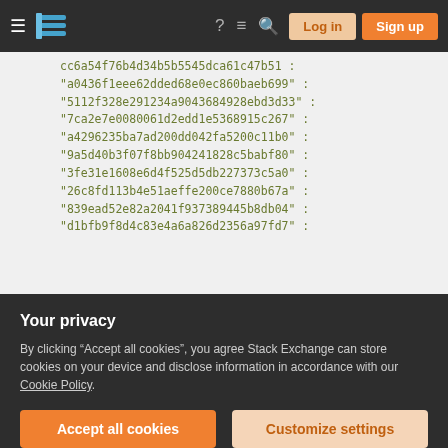[Figure (screenshot): Stack Exchange navigation bar with hamburger menu, logo, icons for help, chat, search, and Log in / Sign up buttons]
cc6a54f76b4d34b5b5545dca61c47b51 :
"a0436f1eee62dded68e0ec860baeb699" :
"5112f328e291234a9043684928ebd3d33" :
"7ca2e7e0080061d2edd1e5368915c267" :
"a4296235ba7ad200dd042fa5200c11b0" :
"9a5d40b3f07f8bb904241828c5babf80" :
"3fe31e1608e6d4f525d5db227373c5a0" :
"26c8fd113b4e51aeffe200ce7880b67a" :
"839ead52e82a2041f937389445b8db04" :
"d1bfb9f8d4c83e4a6a826d2356a97fd7" :
For instance, if we test the demo Magento store
Your privacy
By clicking “Accept all cookies”, you agree Stack Exchange can store cookies on your device and disclose information in accordance with our Cookie Policy.
Accept all cookies
Customize settings